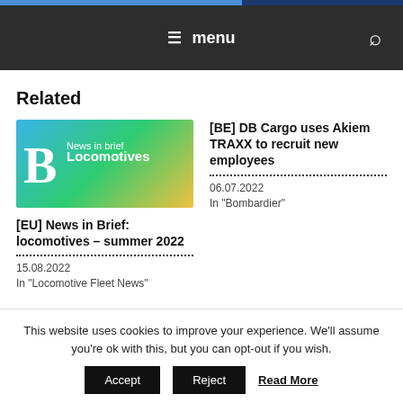menu
Related
[Figure (photo): News in brief Locomotives thumbnail image with large B logo on blue-green background]
[EU] News in Brief: locomotives – summer 2022
15.08.2022
In "Locomotive Fleet News"
[BE] DB Cargo uses Akiem TRAXX to recruit new employees
06.07.2022
In "Bombardier"
This website uses cookies to improve your experience. We'll assume you're ok with this, but you can opt-out if you wish.